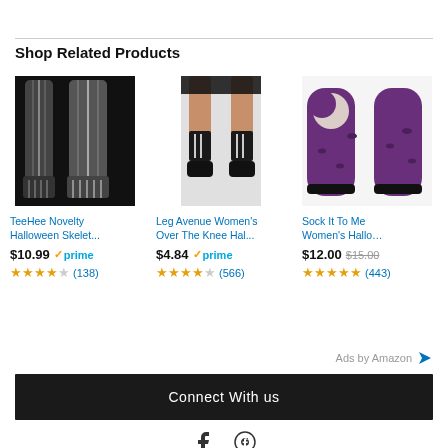Shop Related Products
[Figure (photo): TeeHee Novelty Halloween Skeleton socks - black with white bone design]
TeeHee Novelty Halloween Skelet...
$10.99 ✓prime (138 reviews, 4 stars)
[Figure (photo): Leg Avenue Women's Over The Knee Halloween skeleton socks worn by model]
Leg Avenue Women's Over The Knee Hal...
$4.84 ✓prime (566 reviews, 4 stars)
[Figure (photo): Sock It To Me Women's Halloween purple socks with moon and bats design]
Sock It To Me Women's Hallo...
$12.00 $15.00 (443 reviews, 4.5 stars)
Ads by Amazon
Connect With us
[Figure (other): Facebook and Pinterest social media icons]